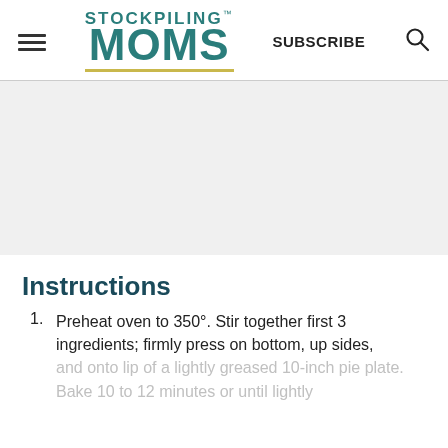STOCKPILING MOMS | SUBSCRIBE
[Figure (other): Advertisement or blank image area]
Instructions
Preheat oven to 350°. Stir together first 3 ingredients; firmly press on bottom, up sides, and onto lip of a lightly greased 10-inch pie plate. Bake 10 to 12 minutes or until lightly